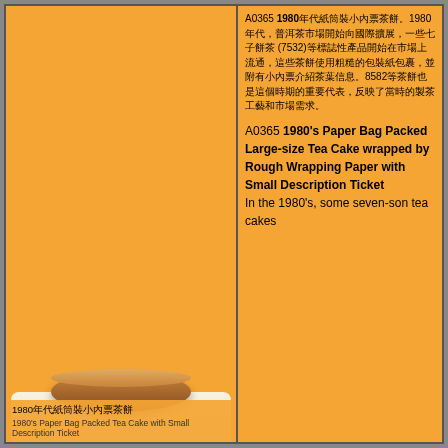A0365 1980年代紙筒裝小內票茶餅。1980 年代，普洱茶市場開始向國際擴展，一些七子餅茶 (7532)等標誌性產品開始在市場上流通，這些茶餅使用粗糙的包裝紙包裹，並附有小內票介紹茶葉信息。8582等茶餅也是這個時期的重要代表，反映了當時的製茶工藝和市場需求。
A0365 1980's Paper Bag Packed Large-size Tea Cake wrapped by Rough Wrapping Paper with Small Description Ticket
In the 1980's, some seven-son tea cakes
[Figure (photo): Photo of a tea cake (pu-erh cake) wrapped in paper, shown from above at an angle. The cake appears round and flat. Caption in Chinese: 1980年代紙筒裝小內票茶餅, and in English: 1980's Paper Bag Packed Tea Cake with Small Description Ticket]
1980年代紙筒裝小內票茶餅
1980's Paper Bag Packed Tea Cake with Small Description Ticket